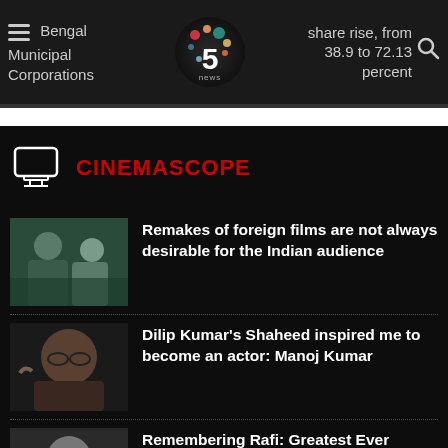Bengal Municipal Corporations | A Well-Wisher | share rise, from 38.9 to 72.13 percent
CINEMASCOPE
Remakes of foreign films are not always desirable for the Indian audience
Dilip Kumar's Shaheed inspired me to become an actor: Manoj Kumar
Remembering Rafi: Greatest Ever Playback Singer